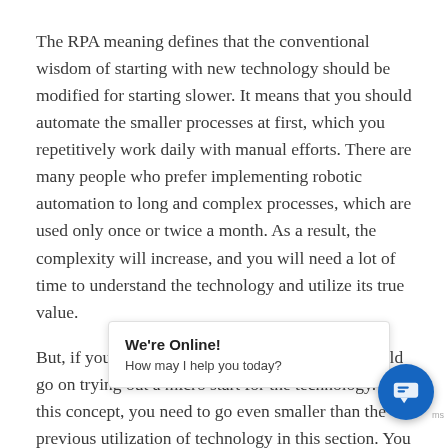The RPA meaning defines that the conventional wisdom of starting with new technology should be modified for starting slower. It means that you should automate the smaller processes at first, which you repetitively work daily with manual efforts. There are many people who prefer implementing robotic automation to long and complex processes, which are used only once or twice a month. As a result, the complexity will increase, and you will need a lot of time to understand the technology and utilize its true value.
But, if you are a complete beginner, then you should go on trying out a micro start for the technology. In this concept, you need to go even smaller than the previous utilization of technology in this section. You must have picked the smallest [obscured] b[obscured] you need to pick ev[obscured] p[obscured] within 2 to 5 seconds. Hence, this is what a micro start